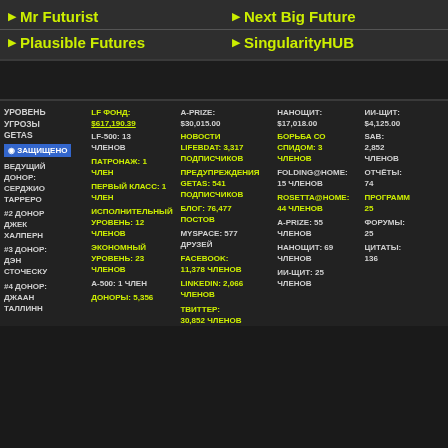Mr Futurist
Next Big Future
Plausible Futures
SingularityHUB
| УРОВЕНЬ УГРОЗЫ GETAS | LF ФОНД: $617,190.39 | A-PRIZE: $30,015.00 | НАНОЩИТ: $17,018.00 | ИИ-ЩИТ: $4,125.00 |
| ЗАЩИЩЕНО | LF-500: 13 ЧЛЕНОВ | НОВОСТИ LIFEBDAT: 3,317 ПОДПИСЧИКОВ | БОРЬБА СО СПИДОМ: 3 ЧЛЕНОВ | SAB: 2,852 ЧЛЕНОВ |
| ВЕДУЩИЙ ДОНОР: СЕРДЖИО ТАРРЕРО | ПАТРОНАЖ: 1 ЧЛЕН | ПРЕДУПРЕЖДЕНИЯ GETAS: 541 ПОДПИСЧИКОВ | FOLDING@HOME: 15 ЧЛЕНОВ | ОТЧЁТЫ: 74 |
| #2 ДОНОР ДЖЕК ХАЛПЕРН | ПЕРВЫЙ КЛАСС: 1 ЧЛЕН | БЛОГ: 76,477 ПОСТОВ | ROSETTA@HOME: 44 ЧЛЕНОВ | ПРОГРАММ 25 |
| #3 ДОНОР: ДЭН СТОЧЕСКУ | ИСПОЛНИТЕЛЬНЫЙ УРОВЕНЬ: 12 ЧЛЕНОВ | MYSPACE: 577 ДРУЗЕЙ | A-PRIZE: 55 ЧЛЕНОВ | ФОРУМЫ: 25 |
| #4 ДОНОР: ДЖААН ТАЛЛИНН | ЭКОНОМНЫЙ УРОВЕНЬ: 23 ЧЛЕНОВ | FACEBOOK: 11,378 ЧЛЕНОВ | НАНОЩИТ: 69 ЧЛЕНОВ | ЦИТАТЫ: 136 |
|  | A-500: 1 ЧЛЕН | LINKEDIN: 2,066 ЧЛЕНОВ | ИИ-ЩИТ: 25 ЧЛЕНОВ |  |
|  | ДОНОРЫ: 5,356 | ТВИТТЕР: 30,852 ЧЛЕНОВ |  |  |